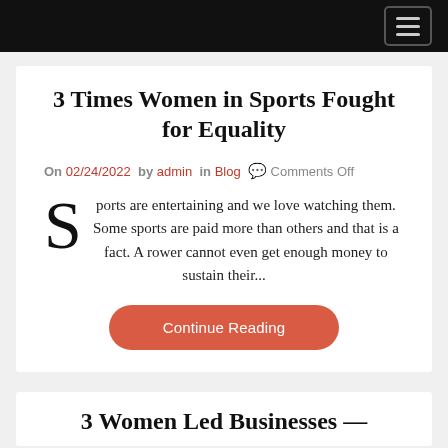[navigation bar with hamburger menu]
3 Times Women in Sports Fought for Equality
On 02/24/2022 by admin in Blog 💬 Comments Off
Sports are entertaining and we love watching them. Some sports are paid more than others and that is a fact. A rower cannot even get enough money to sustain their...
Continue Reading
3 Women Led Businesses —